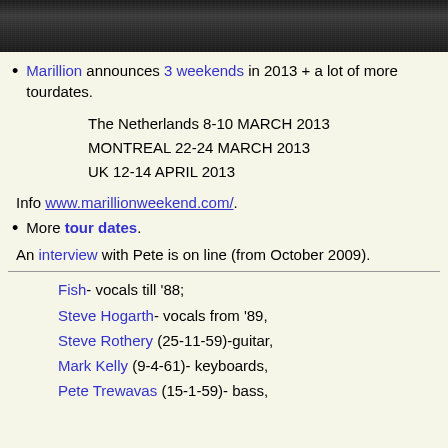[Figure (photo): Dark banner image with textured/noise pattern at the top of the page]
Marillion announces 3 weekends in 2013 + a lot of more tourdates.
The Netherlands 8-10 MARCH 2013
MONTREAL 22-24 MARCH 2013
UK 12-14 APRIL 2013
Info www.marillionweekend.com/.
More tour dates.
An interview with Pete is on line (from October 2009).
Fish- vocals till '88;
Steve Hogarth- vocals from '89,
Steve Rothery (25-11-59)-guitar,
Mark Kelly (9-4-61)- keyboards,
Pete Trewavas (15-1-59)- bass,